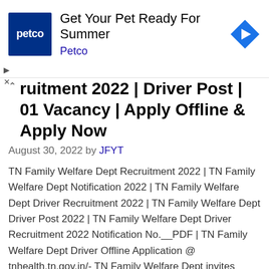[Figure (other): Petco advertisement banner with Petco logo (dark blue square with 'petco' text), headline 'Get Your Pet Ready For Summer', subtext 'Petco', and a blue diamond navigation arrow icon on the right. Ad close controls (triangle/X) on the left.]
ruitment 2022 | Driver Post | 01 Vacancy | Apply Offline & Apply Now
August 30, 2022 by JFYT
TN Family Welfare Dept Recruitment 2022 | TN Family Welfare Dept Notification 2022 | TN Family Welfare Dept Driver Recruitment 2022 | TN Family Welfare Dept Driver Post 2022 | TN Family Welfare Dept Driver Recruitment 2022 Notification No.__PDF | TN Family Welfare Dept Driver Offline Application @ tnhealth.tn.gov.in/- TN Family Welfare Dept invites Offline … Read more